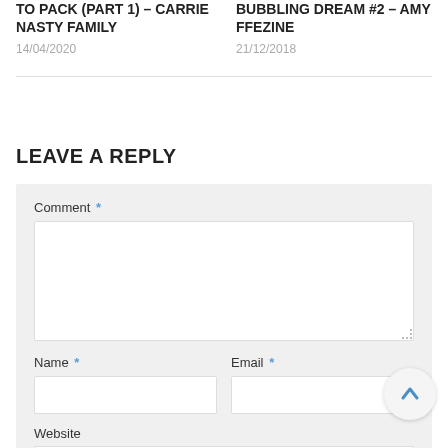NASTY FAMILY
14/04/2020
Bubbling Dream #2 - Amy FFeZine
21/12/2018
LEAVE A REPLY
Comment *
Name *
Email *
Website